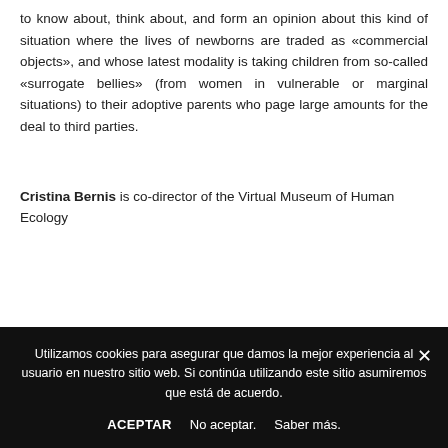to know about, think about, and form an opinion about this kind of situation where the lives of newborns are traded as «commercial objects», and whose latest modality is taking children from so-called «surrogate bellies» (from women in vulnerable or marginal situations) to their adoptive parents who page large amounts for the deal to third parties.
Cristina Bernis is co-director of the Virtual Museum of Human Ecology
Utilizamos cookies para asegurar que damos la mejor experiencia al usuario en nuestro sitio web. Si continúa utilizando este sitio asumiremos que está de acuerdo.
ACEPTAR   No aceptar.   Saber más.